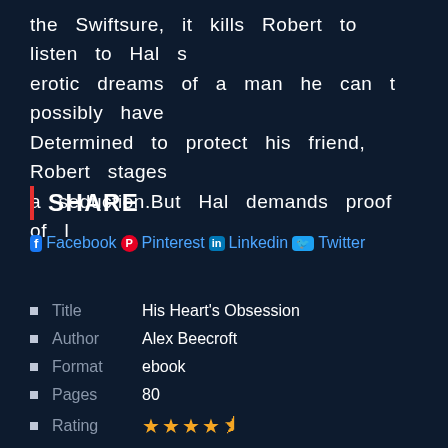the Swiftsure, it kills Robert to listen to Hal s erotic dreams of a man he can t possibly have Determined to protect his friend, Robert stages a seduction.But Hal demands proof of l
SHARE
Facebook Pinterest Linkedin Twitter
Title    His Heart's Obsession
Author   Alex Beecroft
Format   ebook
Pages    80
Rating   4.5 stars
Audio Book